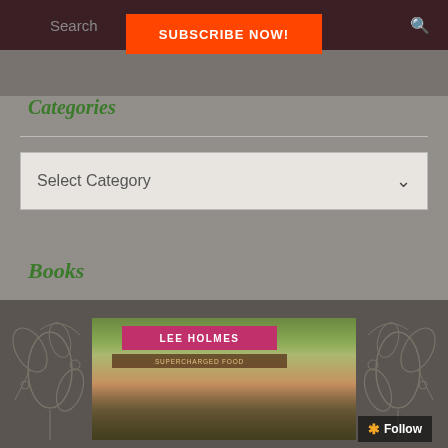Search
SUBSCRIBE NOW!
Categories
Select Category
Books
[Figure (photo): Book cover for Lee Holmes Supercharged Food, showing two women outdoors with trees in the background, with floral line-art overlay on sides]
Follow